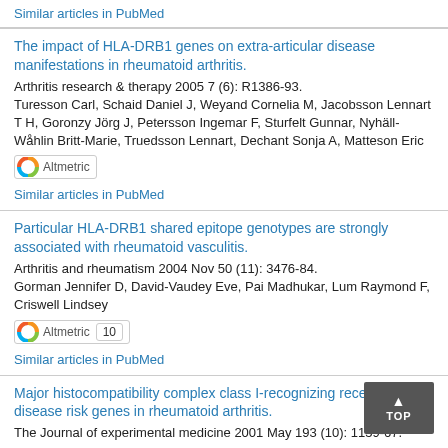Similar articles in PubMed
The impact of HLA-DRB1 genes on extra-articular disease manifestations in rheumatoid arthritis.
Arthritis research & therapy 2005 7 (6): R1386-93.
Turesson Carl, Schaid Daniel J, Weyand Cornelia M, Jacobsson Lennart T H, Goronzy Jörg J, Petersson Ingemar F, Sturfelt Gunnar, Nyhäll-Wåhlin Britt-Marie, Truedsson Lennart, Dechant Sonja A, Matteson Eric
Similar articles in PubMed
Particular HLA-DRB1 shared epitope genotypes are strongly associated with rheumatoid vasculitis.
Arthritis and rheumatism 2004 Nov 50 (11): 3476-84.
Gorman Jennifer D, David-Vaudey Eve, Pai Madhukar, Lum Raymond F, Criswell Lindsey
Similar articles in PubMed
Major histocompatibility complex class I-recognizing receptors are disease risk genes in rheumatoid arthritis.
The Journal of experimental medicine 2001 May 193 (10): 1159-67.